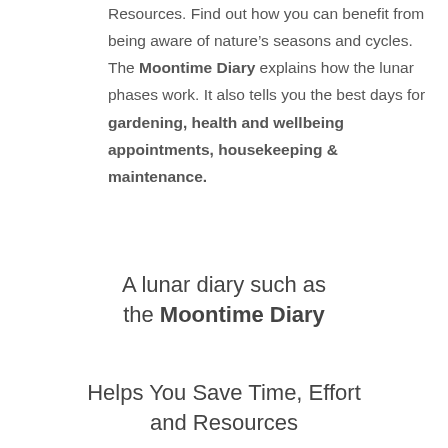Resources. Find out how you can benefit from being aware of nature's seasons and cycles. The Moontime Diary explains how the lunar phases work. It also tells you the best days for gardening, health and wellbeing appointments, housekeeping & maintenance.
A lunar diary such as the Moontime Diary
Helps You Save Time, Effort and Resources